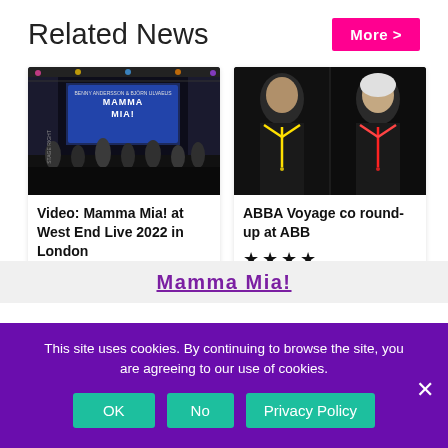Related News
More >
[Figure (photo): Mamma Mia! at West End Live 2022 in London — performers on stage with a large Mamma Mia! logo backdrop, audience watching]
Video: Mamma Mia! at West End Live 2022 in London
[Figure (photo): ABBA Voyage — two figures in dark futuristic costumes with neon yellow and red lighting]
ABBA Voyage co round-up at ABB ★★★★
Mamma Mia!
This site uses cookies. By continuing to browse the site, you are agreeing to our use of cookies.
OK
No
Privacy Policy